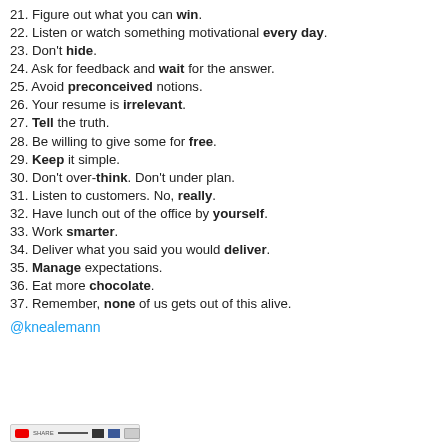21. Figure out what you can win.
22. Listen or watch something motivational every day.
23. Don't hide.
24. Ask for feedback and wait for the answer.
25. Avoid preconceived notions.
26. Your resume is irrelevant.
27. Tell the truth.
28. Be willing to give some for free.
29. Keep it simple.
30. Don't over-think. Don't under plan.
31. Listen to customers. No, really.
32. Have lunch out of the office by yourself.
33. Work smarter.
34. Deliver what you said you would deliver.
35. Manage expectations.
36. Eat more chocolate.
37. Remember, none of us gets out of this alive.
@knealemann
[Figure (other): Social sharing bar with YouTube, and other social media icons]